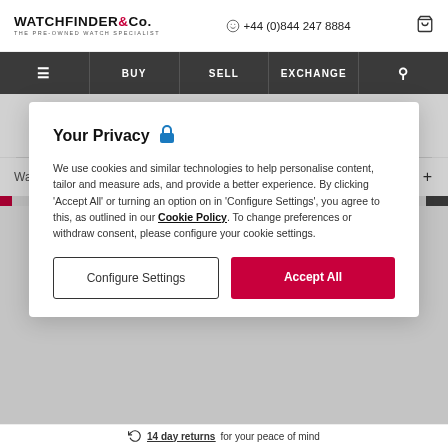WATCHFINDER & Co. THE PRE-OWNED WATCH SPECIALIST | +44 (0)844 247 8884
BUY | SELL | EXCHANGE
£2,145
Retail Price: Discontinued
Watch Summary
Your Privacy
We use cookies and similar technologies to help personalise content, tailor and measure ads, and provide a better experience. By clicking 'Accept All' or turning an option on in 'Configure Settings', you agree to this, as outlined in our Cookie Policy. To change preferences or withdraw consent, please configure your cookie settings.
Configure Settings
Accept All
14 day returns for your peace of mind